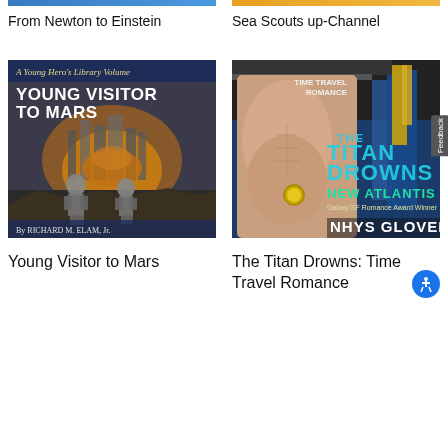[Figure (illustration): Top blue bar for left book (From Newton to Einstein)]
[Figure (illustration): Top orange bar for right book (Sea Scouts up-Channel)]
From Newton to Einstein
Sea Scouts up-Channel
[Figure (photo): Book cover: Young Visitor to Mars by Richard M. Elam Jr. — vintage sci-fi cover showing two astronauts on Mars with a futuristic city in background, orange/brown tones. Text: A Young Hero's Library Volume, YOUNG VISITOR TO MARS, By RICHARD M. ELAM, Jr.]
[Figure (photo): Book cover: The Titan Drowns: Time Travel Romance by Nhys Glover — shows a shirtless man with a pocket watch and tattoo, futuristic blue city background, text: TIME TRAVEL ROMANCE, THE TITAN DROWNS NEW ATLANTIS, Galaxy SF Romance Award Winner, NHYS GLOVER]
Young Visitor to Mars
The Titan Drowns: Time Travel Romance